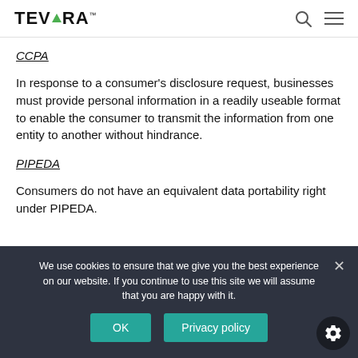TEVORA
CCPA
In response to a consumer's disclosure request, businesses must provide personal information in a readily useable format to enable the consumer to transmit the information from one entity to another without hindrance.
PIPEDA
Consumers do not have an equivalent data portability right under PIPEDA.
We use cookies to ensure that we give you the best experience on our website. If you continue to use this site we will assume that you are happy with it.